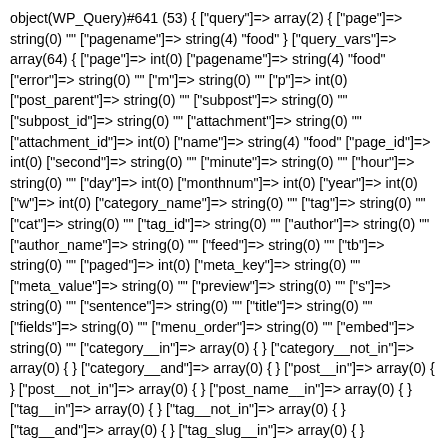object(WP_Query)#641 (53) { ["query"]=> array(2) { ["page"]=> string(0) "" ["pagename"]=> string(4) "food" } ["query_vars"]=> array(64) { ["page"]=> int(0) ["pagename"]=> string(4) "food" ["error"]=> string(0) "" ["m"]=> string(0) "" ["p"]=> int(0) ["post_parent"]=> string(0) "" ["subpost"]=> string(0) "" ["subpost_id"]=> string(0) "" ["attachment"]=> string(0) "" ["attachment_id"]=> int(0) ["name"]=> string(4) "food" ["page_id"]=> int(0) ["second"]=> string(0) "" ["minute"]=> string(0) "" ["hour"]=> string(0) "" ["day"]=> int(0) ["monthnum"]=> int(0) ["year"]=> int(0) ["w"]=> int(0) ["category_name"]=> string(0) "" ["tag"]=> string(0) "" ["cat"]=> string(0) "" ["tag_id"]=> string(0) "" ["author"]=> string(0) "" ["author_name"]=> string(0) "" ["feed"]=> string(0) "" ["tb"]=> string(0) "" ["paged"]=> int(0) ["meta_key"]=> string(0) "" ["meta_value"]=> string(0) "" ["preview"]=> string(0) "" ["s"]=> string(0) "" ["sentence"]=> string(0) "" ["title"]=> string(0) "" ["fields"]=> string(0) "" ["menu_order"]=> string(0) "" ["embed"]=> string(0) "" ["category__in"]=> array(0) { } ["category__not_in"]=> array(0) { } ["category__and"]=> array(0) { } ["post__in"]=> array(0) { } ["post__not_in"]=> array(0) { } ["post_name__in"]=> array(0) { } ["tag__in"]=> array(0) { } ["tag__not_in"]=> array(0) { } ["tag__and"]=> array(0) { } ["tag_slug__in"]=> array(0) { } ["tag_slug__and"]=> array(0) { } ["post_parent__in"]=> array(0) { } ["post_parent__not_in"]=> array(0) { } ["author__in"]=> array(0) { } ["author__not_in"]=>